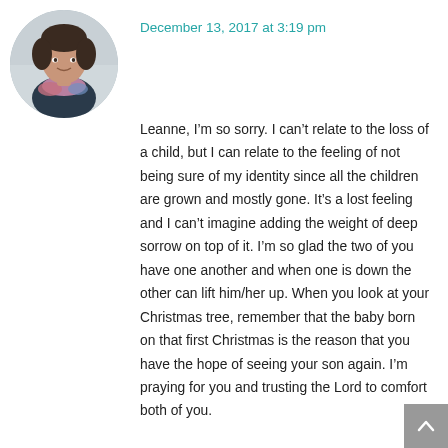[Figure (photo): Circular avatar photo of a woman with dark hair wearing a jacket and colorful scarf]
December 13, 2017 at 3:19 pm
Leanne, I'm so sorry. I can't relate to the loss of a child, but I can relate to the feeling of not being sure of my identity since all the children are grown and mostly gone. It's a lost feeling and I can't imagine adding the weight of deep sorrow on top of it. I'm so glad the two of you have one another and when one is down the other can lift him/her up. When you look at your Christmas tree, remember that the baby born on that first Christmas is the reason that you have the hope of seeing your son again. I'm praying for you and trusting the Lord to comfort both of you.